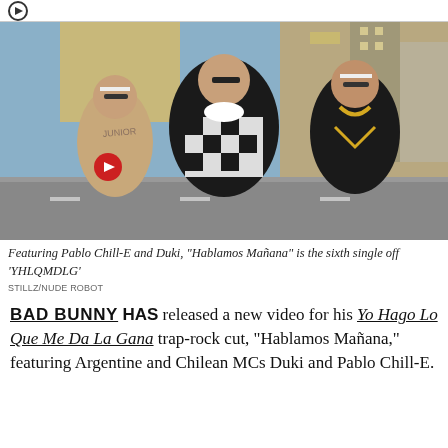[Figure (photo): Three animated/video game-style characters walking on a city street. The center figure wears a black and white checkered outfit with sunglasses. Left figure is shirtless with sunglasses and tattoos. Right figure wears a black shirt with gold chain and sunglasses.]
Featuring Pablo Chill-E and Duki, "Hablamos Mañana" is the sixth single off 'YHLQMDLG'
STILLZ/NUDE ROBOT
BAD BUNNY HAS released a new video for his Yo Hago Lo Que Me Da La Gana trap-rock cut, "Hablamos Mañana," featuring Argentine and Chilean MCs Duki and Pablo Chill-E.